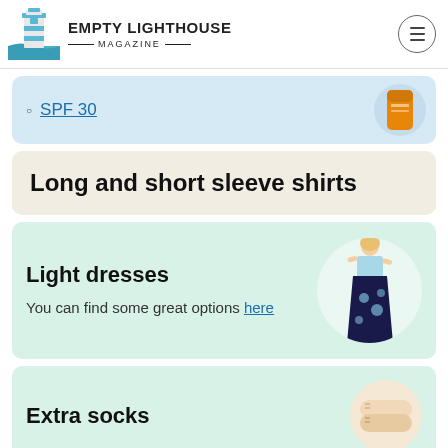EMPTY LIGHTHOUSE MAGAZINE
SPF 30
Long and short sleeve shirts
Light dresses
You can find some great options here
Extra socks